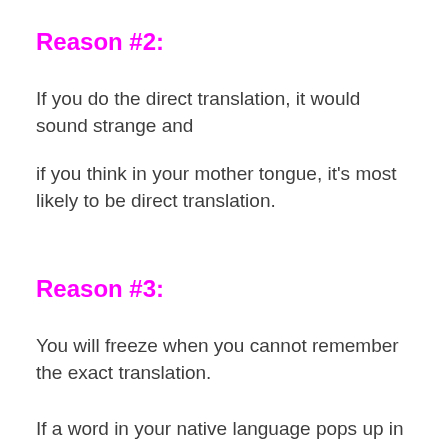Reason #2:
If you do the direct translation, it would sound strange and if you think in your mother tongue, it's most likely to be direct translation.
Reason #3:
You will freeze when you cannot remember the exact translation.
If a word in your native language pops up in your mind, it's